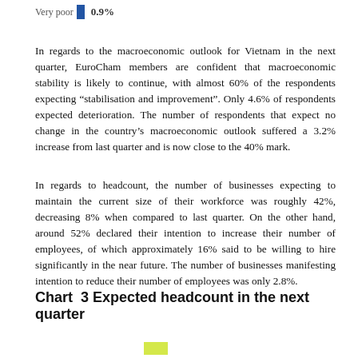Very poor  0.9%
In regards to the macroeconomic outlook for Vietnam in the next quarter, EuroCham members are confident that macroeconomic stability is likely to continue, with almost 60% of the respondents expecting “stabilisation and improvement”. Only 4.6% of respondents expected deterioration. The number of respondents that expect no change in the country’s macroeconomic outlook suffered a 3.2% increase from last quarter and is now close to the 40% mark.
In regards to headcount, the number of businesses expecting to maintain the current size of their workforce was roughly 42%, decreasing 8% when compared to last quarter. On the other hand, around 52% declared their intention to increase their number of employees, of which approximately 16% said to be willing to hire significantly in the near future. The number of businesses manifesting intention to reduce their number of employees was only 2.8%.
Chart  3 Expected headcount in the next quarter